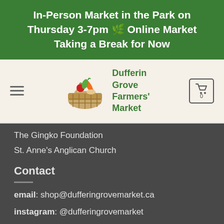In-Person Market in the Park on Thursday 3-7pm 🌿 Online Market Taking a Break for Now
[Figure (logo): Dufferin Grove Farmers' Market logo with a basket of vegetables illustration and green text]
The Gingko Foundation
St. Anne's Anglican Church
Contact
email: shop@dufferingrovemarket.ca
instagram: @dufferingrovemarket
facebook: @DufferinGroveFarmersaMarket